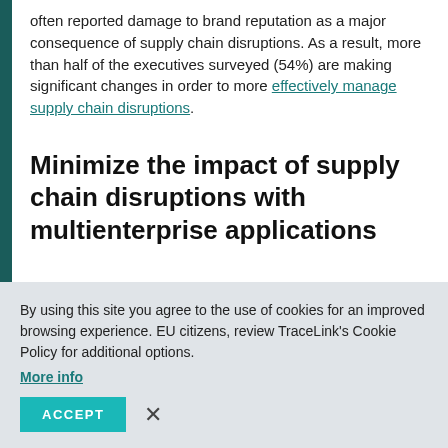often reported damage to brand reputation as a major consequence of supply chain disruptions. As a result, more than half of the executives surveyed (54%) are making significant changes in order to more effectively manage supply chain disruptions.
Minimize the impact of supply chain disruptions with multienterprise applications
By using this site you agree to the use of cookies for an improved browsing experience. EU citizens, review TraceLink's Cookie Policy for additional options. More info